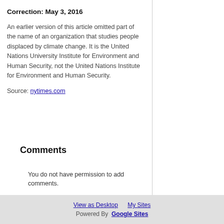Correction: May 3, 2016
An earlier version of this article omitted part of the name of an organization that studies people displaced by climate change. It is the United Nations University Institute for Environment and Human Security, not the United Nations Institute for Environment and Human Security.
Source: nytimes.com
Comments
You do not have permission to add comments.
View as Desktop   My Sites
Powered By  Google Sites